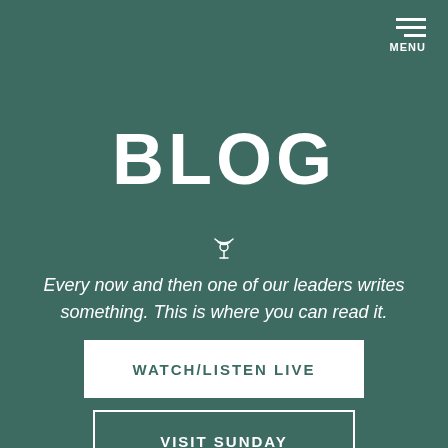MENU
BLOG
[Figure (illustration): Podcast/signal icon in white outline]
Every now and then one of our leaders writes something. This is where you can read it.
WATCH/LISTEN LIVE
VISIT SUNDAY